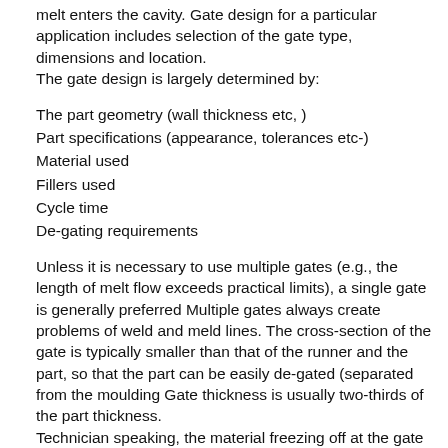melt enters the cavity. Gate design for a particular application includes selection of the gate type, dimensions and location.
The gate design is largely determined by:
The part geometry (wall thickness etc, )
Part specifications (appearance, tolerances etc-)
Material used
Fillers used
Cycle time
De-gating requirements
Unless it is necessary to use multiple gates (e.g., the length of melt flow exceeds practical limits), a single gate is generally preferred Multiple gates always create problems of weld and meld lines. The cross-section of the gate is typically smaller than that of the runner and the part, so that the part can be easily de-gated (separated from the moulding Gate thickness is usually two-thirds of the part thickness.
Technician speaking, the material freezing off at the gate indicates the end of the cavity packing phase. Hence there is no point in maintaining pressure after this point is reached This in turn means the gate must be large enough